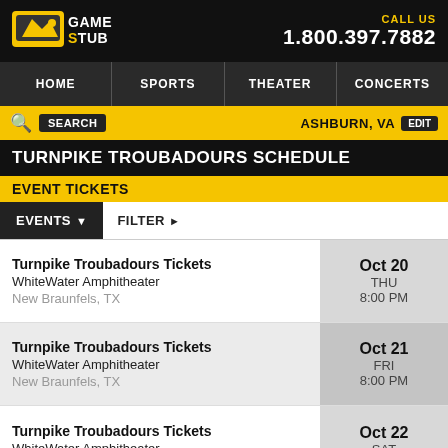GameStub — CALL US 1.800.397.7882
HOME | SPORTS | THEATER | CONCERTS
Search | ASHBURN, VA EDIT
TURNPIKE TROUBADOURS SCHEDULE
EVENT TICKETS
Turnpike Troubadours Tickets — WhiteWater Amphitheater — New Braunfels, TX — Oct 20 THU 8:00 PM
Turnpike Troubadours Tickets — WhiteWater Amphitheater — New Braunfels, TX — Oct 21 FRI 8:00 PM
Turnpike Troubadours Tickets — WhiteWater Amphitheater — New Braunfels, TX — Oct 22 SAT